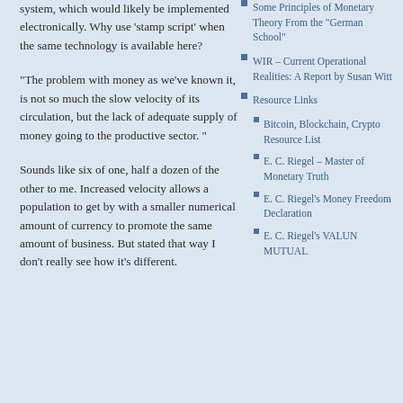system, which would likely be implemented electronically. Why use ‘stamp script’ when the same technology is available here?
“The problem with money as we’ve known it, is not so much the slow velocity of its circulation, but the lack of adequate supply of money going to the productive sector.”
Sounds like six of one, half a dozen of the other to me. Increased velocity allows a population to get by with a smaller numerical amount of currency to promote the same amount of business. But stated that way I don’t really see how it’s different.
Some Principles of Monetary Theory From the “German School”
WIR – Current Operational Realities: A Report by Susan Witt
Resource Links
Bitcoin, Blockchain, Crypto Resource List
E. C. Riegel – Master of Monetary Truth
E. C. Riegel’s Money Freedom Declaration
E. C. Riegel’s VALUN MUTUAL